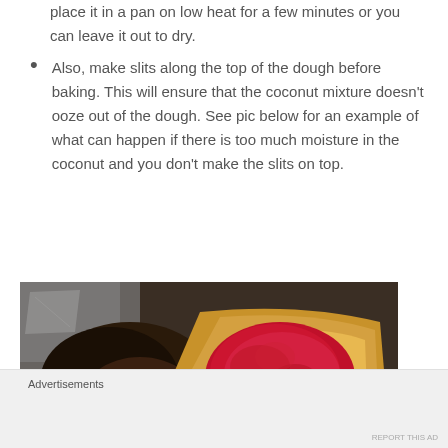place it in a pan on low heat for a few minutes or you can leave it out to dry.
Also, make slits along the top of the dough before baking. This will ensure that the coconut mixture doesn't ooze out of the dough. See pic below for an example of what can happen if there is too much moisture in the coconut and you don't make the slits on top.
[Figure (photo): Close-up photo of baked dough filled with red coconut mixture, burst open on a baking tray, showing dark charred spots and red filling oozing out.]
Advertisements